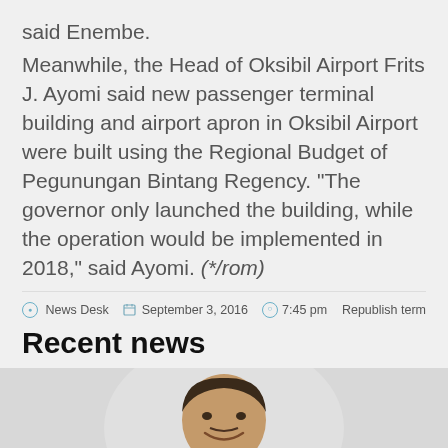said Enembe.
Meanwhile, the Head of Oksibil Airport Frits J. Ayomi said new passenger terminal building and airport apron in Oksibil Airport were built using the Regional Budget of Pegunungan Bintang Regency. “The governor only launched the building, while the operation would be implemented in 2018,” said Ayomi. (*/rom)
News Desk   September 3, 2016   7:45 pm   Republish term
Recent news
[Figure (photo): Photo of a smiling man in a batik shirt, seated, upper body visible]